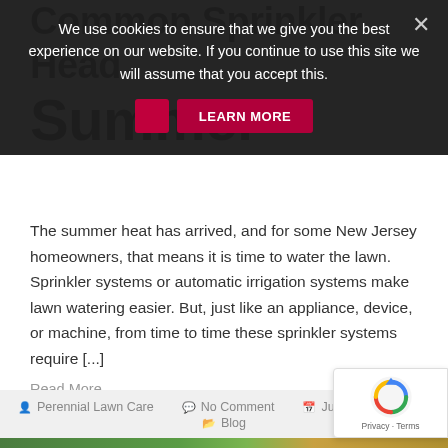Common Sprinkler Head Summer
[Figure (screenshot): Cookie consent banner overlay with dark background reading: We use cookies to ensure that we give you the best experience on our website. If you continue to use this site we will assume that you accept this. Close X button and two pink/red buttons below.]
The summer heat has arrived, and for some New Jersey homeowners, that means it is time to water the lawn. Sprinkler systems or automatic irrigation systems make lawn watering easier. But, just like an appliance, device, or machine, from time to time these sprinkler systems require [...]
Read More...
Perennial Lawn Care   No Comment   July 10th, 2018   Blog
[Figure (photo): Bottom strip showing green grass/lawn photograph]
[Figure (logo): reCAPTCHA badge in bottom right corner with Privacy and Terms links]